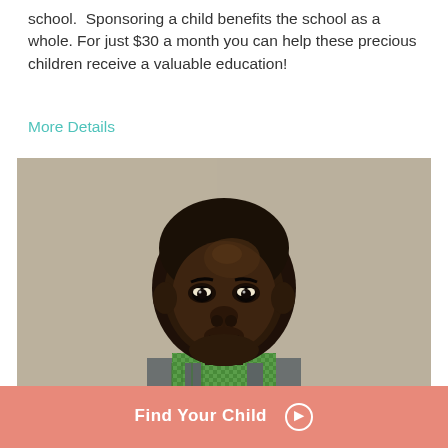school.  Sponsoring a child benefits the school as a whole. For just $30 a month you can help these precious children receive a valuable education!
More Details
[Figure (photo): Portrait photo of a young African boy wearing a green checkered shirt and gray vest, standing against a beige/tan wall, looking directly at the camera with a serious expression.]
Find Your Child →